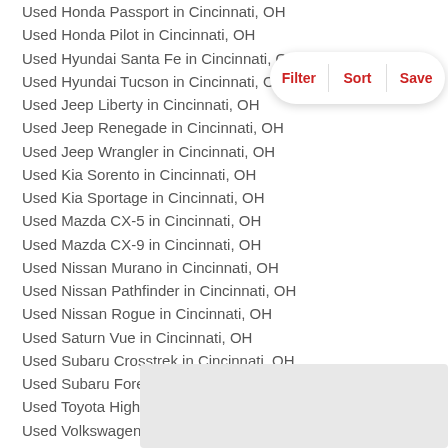Used Honda Passport in Cincinnati, OH
Used Honda Pilot in Cincinnati, OH
Used Hyundai Santa Fe in Cincinnati, OH
Used Hyundai Tucson in Cincinnati, OH
Used Jeep Liberty in Cincinnati, OH
Used Jeep Renegade in Cincinnati, OH
Used Jeep Wrangler in Cincinnati, OH
Used Kia Sorento in Cincinnati, OH
Used Kia Sportage in Cincinnati, OH
Used Mazda CX-5 in Cincinnati, OH
Used Mazda CX-9 in Cincinnati, OH
Used Nissan Murano in Cincinnati, OH
Used Nissan Pathfinder in Cincinnati, OH
Used Nissan Rogue in Cincinnati, OH
Used Saturn Vue in Cincinnati, OH
Used Subaru Crosstrek in Cincinnati, OH
Used Subaru Forester in Cincinnati, OH
Used Toyota Highlander in Cincinnati, OH
Used Volkswagen Tiguan in Cincinnati, OH
[Figure (other): Filter/Sort/Save toolbar overlay]
[Figure (other): Gray advertisement/banner box at bottom right]